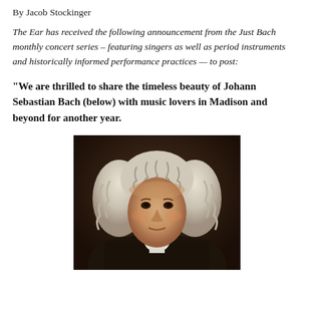By Jacob Stockinger
The Ear has received the following announcement from the Just Bach monthly concert series – featuring singers as well as period instruments and historically informed performance practices — to post:
“We are thrilled to share the timeless beauty of Johann Sebastian Bach (below) with music lovers in Madison and beyond for another year.
[Figure (photo): Portrait painting of Johann Sebastian Bach, showing him in formal 18th-century attire with a white wig, against a dark background.]